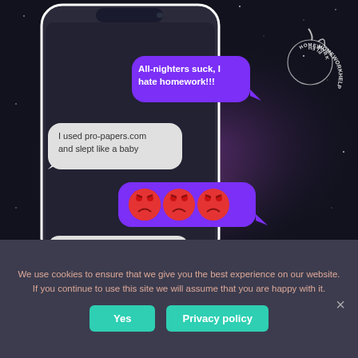[Figure (screenshot): Screenshot of a smartphone showing a text message conversation on a dark starry background. Purple chat bubble from sender says 'All-nighters suck, I hate homework!!!'. Gray reply bubble says 'I used pro-papers.com and slept like a baby'. Purple bubble with three angry red emoji faces. Gray bubble starting 'I'll send you their'. Logo text 'HOMEWORKHELP' in circle at top right.]
We use cookies to ensure that we give you the best experience on our website. If you continue to use this site we will assume that you are happy with it.
Yes
Privacy policy